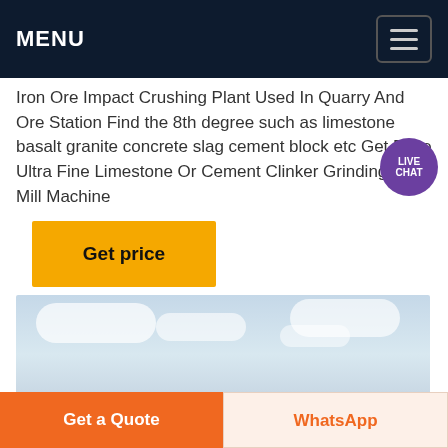MENU
Iron Ore Impact Crushing Plant Used In Quarry And Ore Station Find the 8th degree such as limestone basalt granite concrete slag cement block etc Get Price Ultra Fine Limestone Or Cement Clinker Grinding Plant Mill Machine
Get price
[Figure (photo): Outdoor photo showing a partly cloudy sky with trees visible at the bottom edge]
Get a Quote | WhatsApp